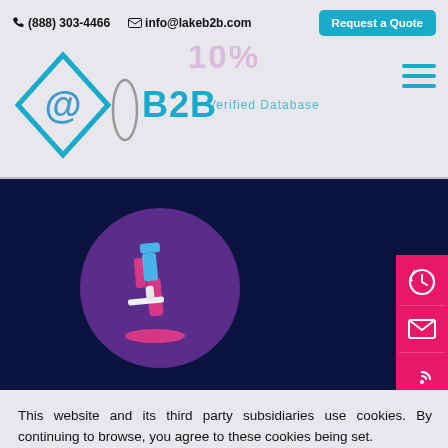☎(888) 303-4466   ✉ info@lakeb2b.com   Request a Quote
[Figure (logo): Lake B2B logo with diamond @-symbol and B2B text, Verified Database tagline]
[Figure (illustration): Microscope icon on dark purple circle over dark navy background section]
This website and its third party subsidiaries use cookies. By continuing to browse, you agree to these cookies being set.
ALLOW   NO, THANK YOU